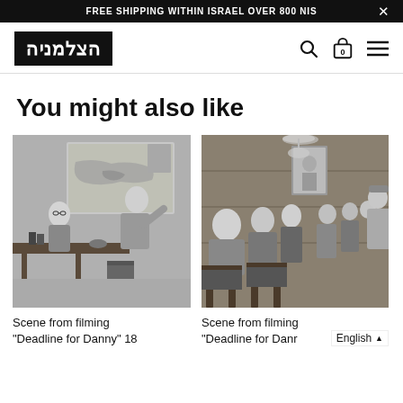FREE SHIPPING WITHIN ISRAEL OVER 800 NIS
[Figure (logo): HaTzalmaniya store logo with Hebrew text in a black bordered box]
You might also like
[Figure (photo): Black and white scene from filming Deadline for Danny – two people at a desk with a map on the wall]
Scene from filming "Deadline for Danny" 18
[Figure (photo): Black and white scene from filming Deadline for Danny – group of people in a room]
Scene from filming "Deadline for Danr
English